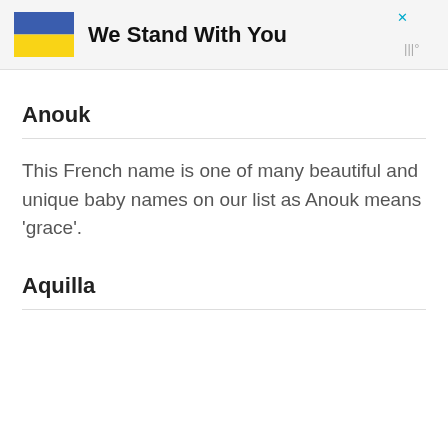[Figure (infographic): Advertisement banner with Ukrainian flag and text 'We Stand With You']
Anouk
This French name is one of many beautiful and unique baby names on our list as Anouk means ‘grace’.
Aquilla